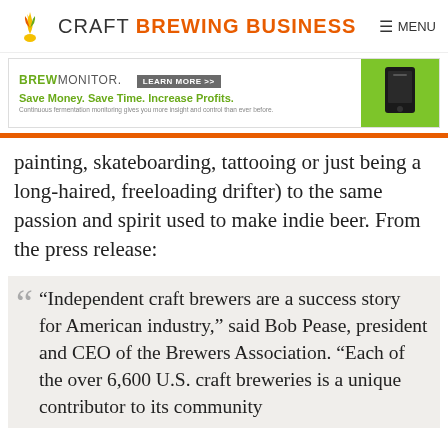CRAFT BREWING BUSINESS
[Figure (screenshot): BrewMonitor advertisement banner: green logo, LEARN MORE button, 'Save Money. Save Time. Increase Profits.' tagline, device image on green background]
painting, skateboarding, tattooing or just being a long-haired, freeloading drifter) to the same passion and spirit used to make indie beer. From the press release:
“Independent craft brewers are a success story for American industry,” said Bob Pease, president and CEO of the Brewers Association. “Each of the over 6,600 U.S. craft breweries is a unique contributor to its community